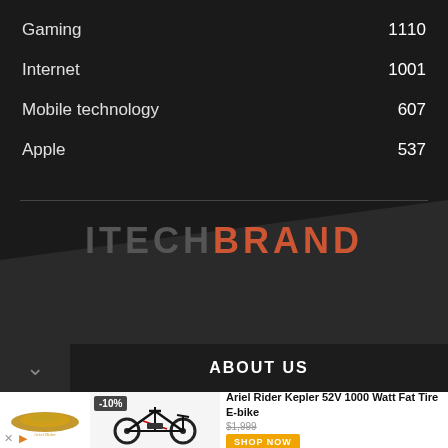Gaming 1110
Internet 1001
Mobile technology 607
Apple 537
[Figure (logo): ITECH BRAND logo text in dark and orange colors]
ABOUT US
[Figure (infographic): Advertisement: Ariel Rider Kepler 52V 1000 Watt Fat Tire E-bike, -10% discount, price $1,999, SHOP NOW button, with bike image and logo]